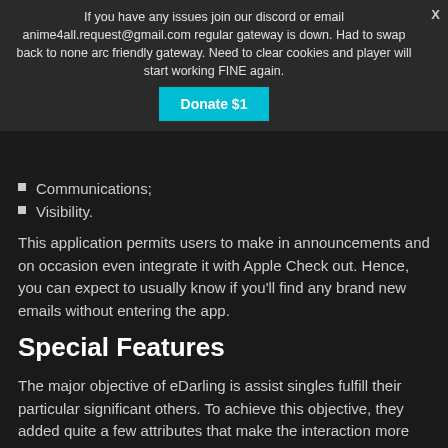If you have any issues join our discord or email anime4all.request@gmail.com regular gateway is down. Had to swap back to none arc friendly gateway. Need to clear cookies and player will start working FINE again.
Communications;
Visibility.
This application permits users to make in announcements and on occasion even integrate it with Apple Check out. Hence, you can expect to usually know if you'll find any brand new emails without entering the app.
Special Features
The major objective of eDarling is assist singles fulfill their particular significant others. To achieve this objective, they added quite a few attributes that make the interaction more fun. Here are solutions you should try very first:
identity test. This test is a superb option for folks who tend to be wanting to fulfill their particular perfect match quicker.